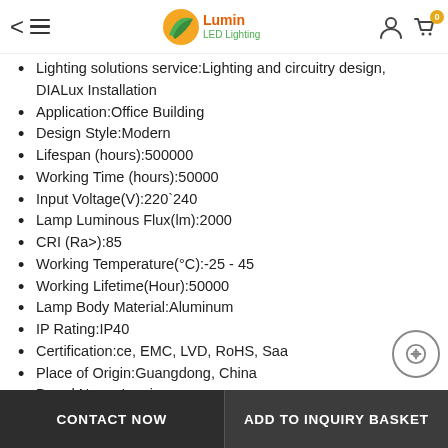Lumin LED Lighting — navigation bar with back, menu, logo, user icon, cart (0)
Lighting solutions service:Lighting and circuitry design, DIALux Installation
Application:Office Building
Design Style:Modern
Lifespan (hours):500000
Working Time (hours):50000
Input Voltage(V):220`240
Lamp Luminous Flux(lm):2000
CRI (Ra>):85
Working Temperature(°C):-25 - 45
Working Lifetime(Hour):50000
Lamp Body Material:Aluminum
IP Rating:IP40
Certification:ce, EMC, LVD, RoHS, Saa
Place of Origin:Guangdong, China
Brand Name:Lumin
CONTACT NOW | ADD TO INQUIRY BASKET